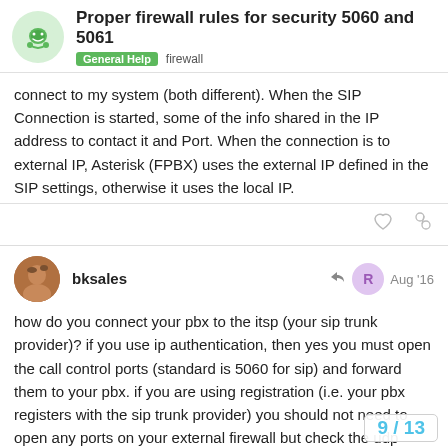Proper firewall rules for security 5060 and 5061 | General Help  firewall
connect to my system (both different). When the SIP Connection is started, some of the info shared in the IP address to contact it and Port. When the connection is to external IP, Asterisk (FPBX) uses the external IP defined in the SIP settings, otherwise it uses the local IP.
bksales  Aug '16
how do you connect your pbx to the itsp (your sip trunk provider)? if you use ip authentication, then yes you must open the call control ports (standard is 5060 for sip) and forward them to your pbx. if you are using registration (i.e. your pbx registers with the sip trunk provider) you should not need to open any ports on your external firewall but check the udp session timers on the firewall. if you are using authenticat freepbx provided firewall and simply whitel